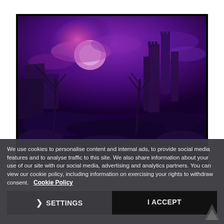[Figure (illustration): Dark fantasy scene with purple/magenta sky, ruined stone castle towers, bare dead trees, glowing purple-pink moon behind clouds, rocky ground in foreground. Dark atmospheric digital art.]
We use cookies to personalise content and internal ads, to provide social media features and to analyse traffic to this site. We also share information about your use of our site with our social media, advertising and analytics partners. You can view our cookie policy, including information on exercising your rights to withdraw consent.   Cookie Policy
❯ SETTINGS
I ACCEPT